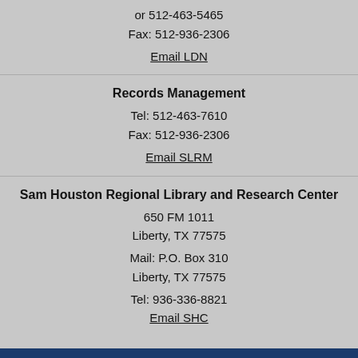or 512-463-5465
Fax: 512-936-2306
Email LDN
Records Management
Tel: 512-463-7610
Fax: 512-936-2306
Email SLRM
Sam Houston Regional Library and Research Center
650 FM 1011
Liberty, TX 77575
Mail: P.O. Box 310
Liberty, TX 77575
Tel: 936-336-8821
Email SHC